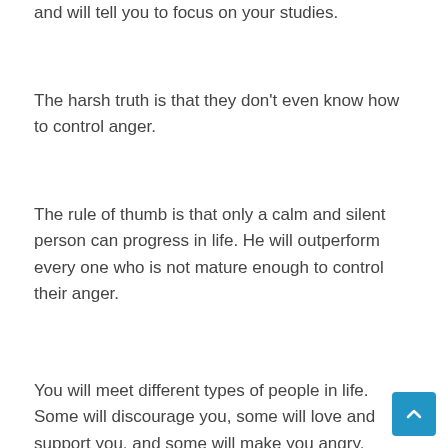and will tell you to focus on your studies.
The harsh truth is that they don't even know how to control anger.
The rule of thumb is that only a calm and silent person can progress in life. He will outperform every one who is not mature enough to control their anger.
You will meet different types of people in life. Some will discourage you, some will love and support you, and some will make you angry.
The way you will react to their action will determ how far you can go in life.